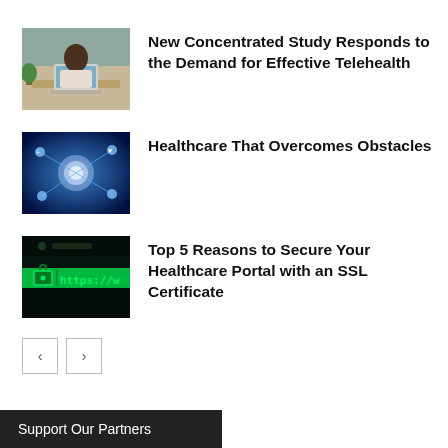[Figure (photo): Person working at a laptop computer in a home or office setting]
New Concentrated Study Responds to the Demand for Effective Telehealth
[Figure (photo): Digital healthcare network graphic with glowing blue interconnected icons and data visualization]
Healthcare That Overcomes Obstacles
[Figure (photo): Green lit lock icon and https URL on a dark screen, representing SSL security]
Top 5 Reasons to Secure Your Healthcare Portal with an SSL Certificate
Support Our Partners